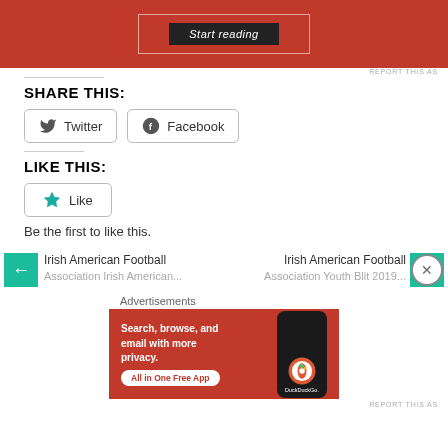[Figure (screenshot): Red advertisement banner with 'Start reading' button in black]
REPORT THIS AS
SHARE THIS:
[Figure (screenshot): Twitter share button]
[Figure (screenshot): Facebook share button]
LIKE THIS:
[Figure (screenshot): Like button with teal star icon]
Be the first to like this.
Irish American Football
Irish American Football
Advertisements
[Figure (screenshot): DuckDuckGo advertisement: Search, browse, and email with more privacy. All in One Free App]